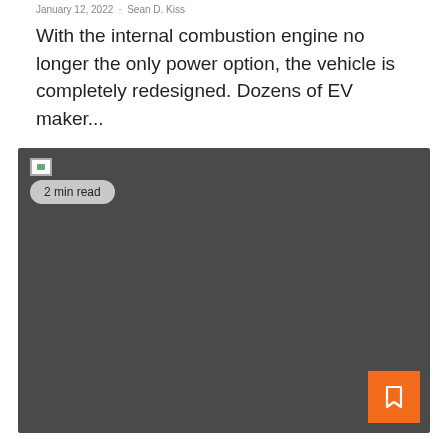January 12, 2022  ·  Sean D. Kiss
With the internal combustion engine no longer the only power option, the vehicle is completely redesigned. Dozens of EV maker...
[Figure (photo): Dark gray image placeholder with a broken image icon in the top-left, a '2 min read' badge below the icon, and an orange bookmark button in the bottom-right corner.]